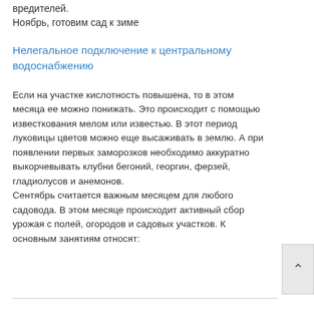вредителей.
Ноябрь, готовим сад к зиме
Нелегальное подключение к центральному водоснабжению
Если на участке кислотность повышена, то в этом месяца ее можно понижать. Это происходит с помощью известкования мелом или известью. В этот период луковицы цветов можно еще высаживать в землю. А при появлении первых заморозков необходимо аккуратно выкорчевывать клубни бегоний, георгин, ферзей, гладиолусов и анемонов.
Сентябрь считается важным месяцем для любого садовода. В этом месяце происходит активный сбор урожая с полей, огородов и садовых участков. К основным занятиям относят: